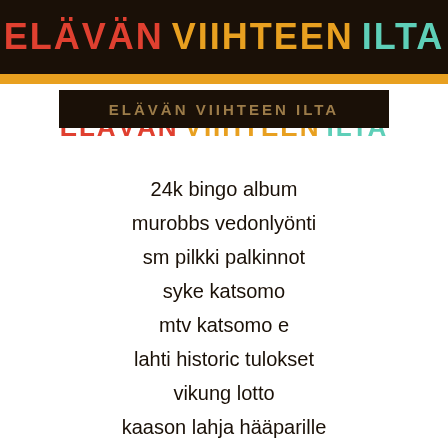ELÄVÄN VIIHTEEN ILTA
[Figure (logo): Elävän Viihteen Ilta logo repeated with dark background overlay and colored text]
24k bingo album
murobbs vedonlyönti
sm pilkki palkinnot
syke katsomo
mtv katsomo e
lahti historic tulokset
vikung lotto
kaason lahja hääparille